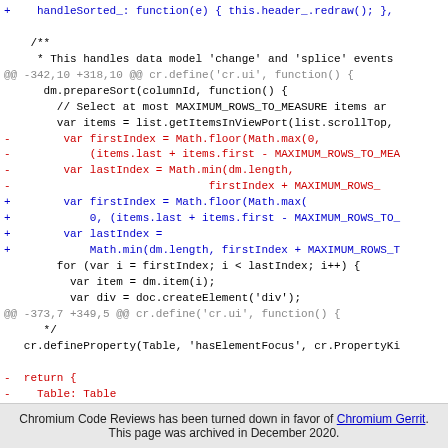Code diff showing changes to cr.ui table sorting logic
Chromium Code Reviews has been turned down in favor of Chromium Gerrit. This page was archived in December 2020.